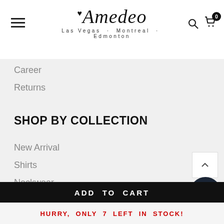Amedeo Las Vegas · Montreal · Edmonton
Career
Returns
SHOP BY COLLECTION
New Arrival
Shirts
Neckwear
Belts
Shoes
ADD TO CART
HURRY, ONLY 7 LEFT IN STOCK!